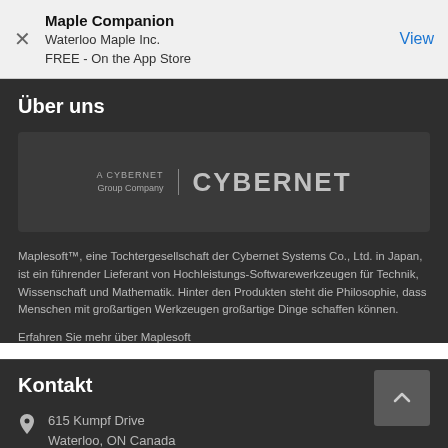Maple Companion
Waterloo Maple Inc.
FREE - On the App Store
View
Über uns
[Figure (logo): Cybernet Group Company logo on dark background with text 'A CYBERNET Group Company | CYBERNET']
Maplesoft™, eine Tochtergesellschaft der Cybernet Systems Co., Ltd. in Japan, ist ein führender Lieferant von Hochleistungs-Softwarewerkzeugen für Technik, Wissenschaft und Mathematik. Hinter den Produkten steht die Philosophie, dass Menschen mit großartigen Werkzeugen großartige Dinge schaffen können.
Erfahren Sie mehr über Maplesoft
Kontakt
615 Kumpf Drive
Waterloo, ON Canada